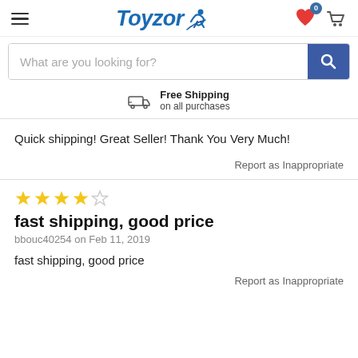[Figure (logo): Toyzory logo with blue italic text and a figure icon]
What are you looking for?
Free Shipping on all purchases
Quick shipping! Great Seller! Thank You Very Much!
Report as Inappropriate
fast shipping, good price
bbouc40254 on Feb 11, 2019
fast shipping, good price
Report as Inappropriate